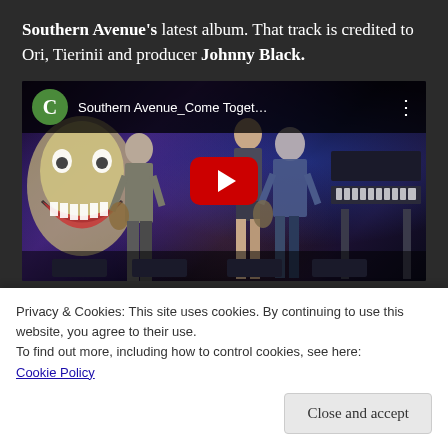Southern Avenue's latest album. That track is credited to Ori, Tierinii and producer Johnny Black.
[Figure (screenshot): YouTube video embed showing Southern Avenue_Come Toget... with a play button overlay. Band performing on stage with stage lighting and a joker face mural visible on the left.]
Privacy & Cookies: This site uses cookies. By continuing to use this website, you agree to their use.
To find out more, including how to control cookies, see here: Cookie Policy